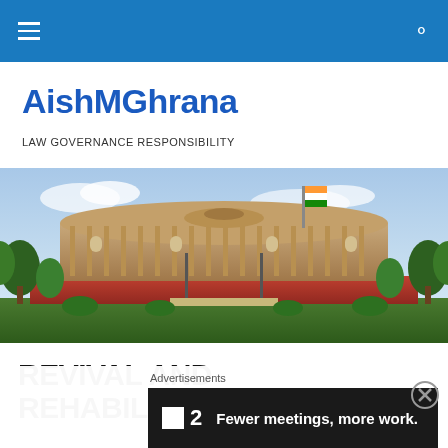AishMGhrana — navigation bar
AishMGhrana
LAW GOVERNANCE RESPONSIBILITY
[Figure (photo): Panoramic photograph of the Indian Parliament building (Sansad Bhavan) with colonnaded circular facade, Indian flag, trees, and garden in the foreground under a partly cloudy sky.]
REVIVAL AND REHABILITATION OF SICK
Advertisements
[Figure (screenshot): Dark advertisement banner reading 'Fewer meetings, more work.' with a Planview logo (square icon with number 2).]